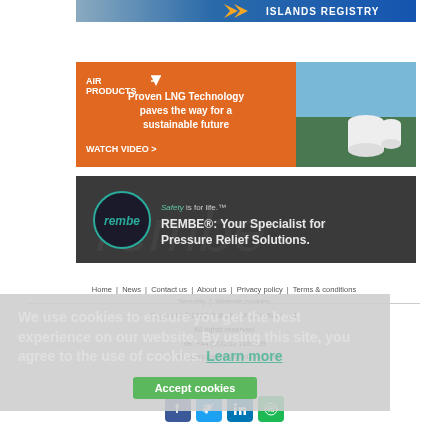[Figure (screenshot): Islands Registry banner ad - blue/gray background with white arrow and bold white text]
[Figure (screenshot): Air Products orange banner ad showing Proven LNG Technology with photo of industrial site]
[Figure (screenshot): REMBE dark banner ad - Safety is for life, Your Specialist for Pressure Relief Solutions]
Home   News   Contact us   About us   Privacy policy   Terms & conditions   Security   Website cookies
Copyright © 2022 Palladian Publications Ltd. All rights reserved. Tel: +44 (0)1252 718 999 Email: enquiries@lngindustry.com
We use cookies to ensure you get the best experience on our website. By using this site, you agree to the use of cookies. Learn more
Accept cookies